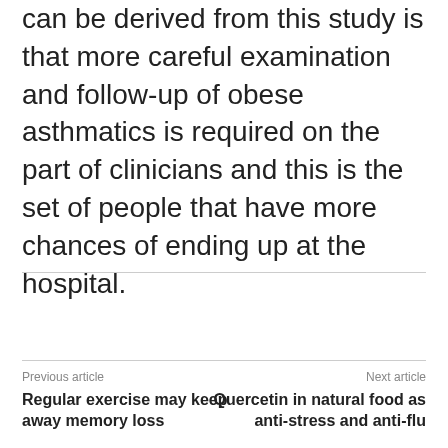can be derived from this study is that more careful examination and follow-up of obese asthmatics is required on the part of clinicians and this is the set of people that have more chances of ending up at the hospital.
Previous article
Next article
Regular exercise may keep away memory loss
Quercetin in natural food as anti-stress and anti-flu